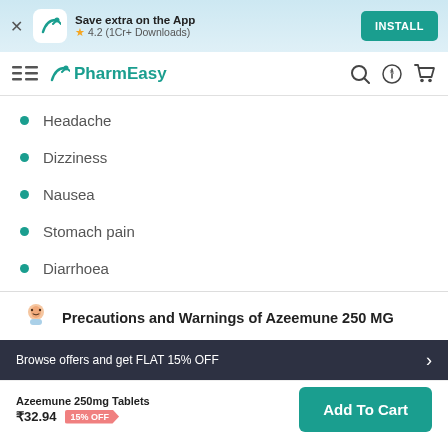[Figure (screenshot): App install banner with PharmEasy logo, star rating 4.2 (1Cr+ Downloads), and INSTALL button]
[Figure (logo): PharmEasy navigation bar with logo, search, discount, and cart icons]
Headache
Dizziness
Nausea
Stomach pain
Diarrhoea
Precautions and Warnings of Azeemune 250 MG
Browse offers and get FLAT 15% OFF
Azeemune 250mg Tablets ₹32.94 15% OFF